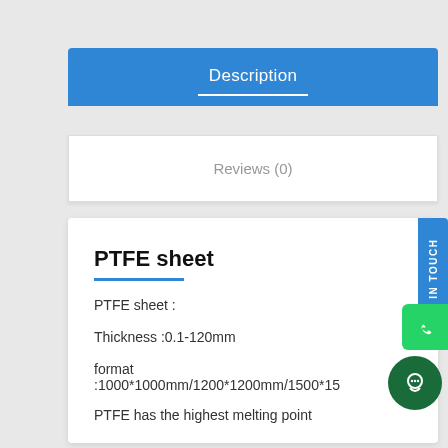Description
Reviews (0)
PTFE sheet
PTFE sheet :
Thickness :0.1-120mm
format :1000*1000mm/1200*1200mm/1500*15…
PTFE has the highest melting point